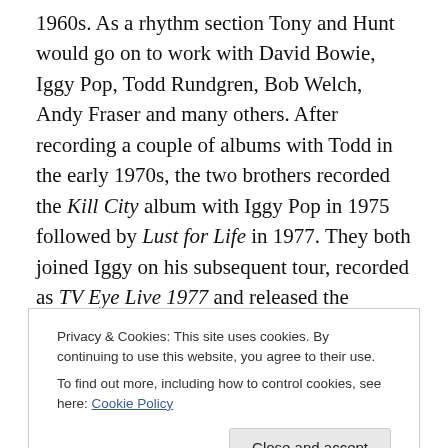1960s. As a rhythm section Tony and Hunt would go on to work with David Bowie, Iggy Pop, Todd Rundgren, Bob Welch, Andy Fraser and many others. After recording a couple of albums with Todd in the early 1970s, the two brothers recorded the Kill City album with Iggy Pop in 1975 followed by Lust for Life in 1977. They both joined Iggy on his subsequent tour, recorded as TV Eye Live 1977 and released the following year. In 1982 Tony joined Chequered Past, which included singer/actor Michael Des Barres (later of Power Station); ex-Sex Pistols guitarist,
Privacy & Cookies: This site uses cookies. By continuing to use this website, you agree to their use.
To find out more, including how to control cookies, see here: Cookie Policy
the brothers to join him.